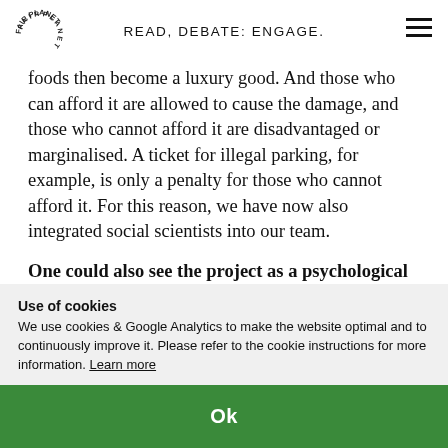READ, DEBATE: ENGAGE.
foods then become a luxury good. And those who can afford it are allowed to cause the damage, and those who cannot afford it are disadvantaged or marginalised. A ticket for illegal parking, for example, is only a penalty for those who cannot afford it. For this reason, we have now also integrated social scientists into our team.
One could also see the project as a psychological game, namely as a speculation that the customer
Use of cookies
We use cookies & Google Analytics to make the website optimal and to continuously improve it. Please refer to the cookie instructions for more information. Learn more
Ok